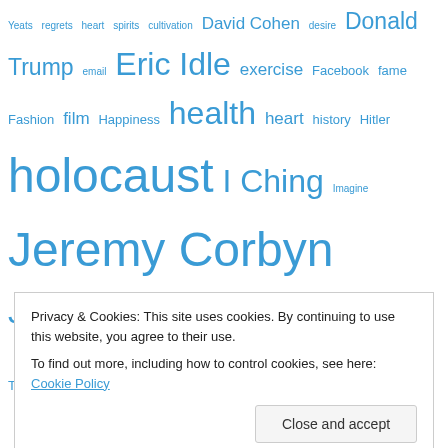Yeats regrets heart spirits cultivation David Cohen desire Donald Trump email Eric Idle exercise Facebook fame Fashion film Happiness health heart history Hitler holocaust I Ching Imagine Jeremy Corbyn Jewish karma Labour Lao Tzu law Leon Trotsky Lieh Tzu longevity Lost Forest Marcus Aurelius meditation Michael Palin Monty Python Monty Python and The Holy Grail nazi Nazis New York Times philosophy poland publisher Rudolf Reder sage Seneca Socrates
Privacy & Cookies: This site uses cookies. By continuing to use this website, you agree to their use.
To find out more, including how to control cookies, see here: Cookie Policy